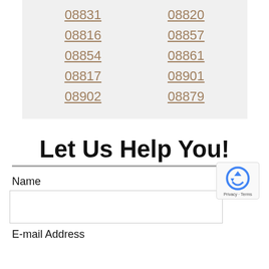| 08831 | 08820 |
| 08816 | 08857 |
| 08854 | 08861 |
| 08817 | 08901 |
| 08902 | 08879 |
Let Us Help You!
Name
E-mail Address